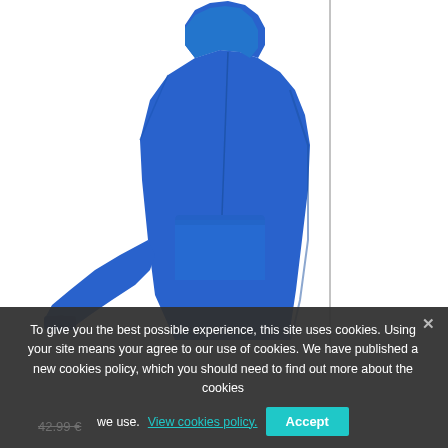[Figure (photo): A royal blue hoodie/sweatshirt shown from the side/right angle against a white background. The hoodie features a front kangaroo pocket and ribbed cuffs. A thin vertical dark line divides the image near the right side.]
To give you the best possible experience, this site uses cookies. Using your site means your agree to our use of cookies. We have published a new cookies policy, which you should need to find out more about the cookies we use. View cookies policy.
Accept